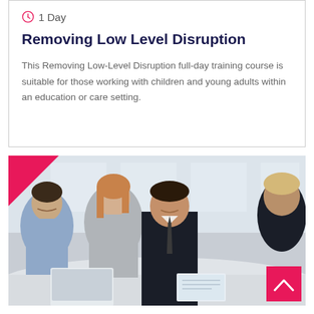1 Day
Removing Low Level Disruption
This Removing Low-Level Disruption full-day training course is suitable for those working with children and young adults within an education or care setting.
[Figure (photo): Business professionals sitting around a table in a meeting, smiling and engaged in discussion. A man in a dark suit and tie is speaking. A pink triangle decorates the top-left corner of the image. A pink back-to-top button with an upward chevron appears in the bottom-right corner.]